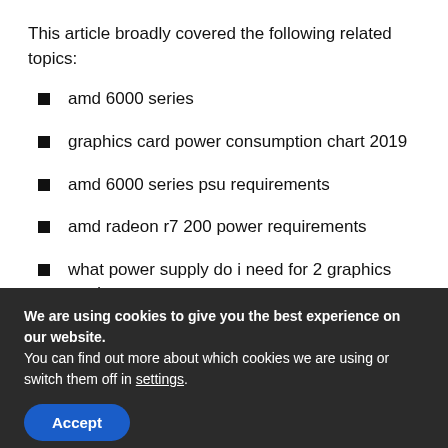This article broadly covered the following related topics:
amd 6000 series
graphics card power consumption chart 2019
amd 6000 series psu requirements
amd radeon r7 200 power requirements
what power supply do i need for 2 graphics cards
We are using cookies to give you the best experience on our website.
You can find out more about which cookies we are using or switch them off in settings.